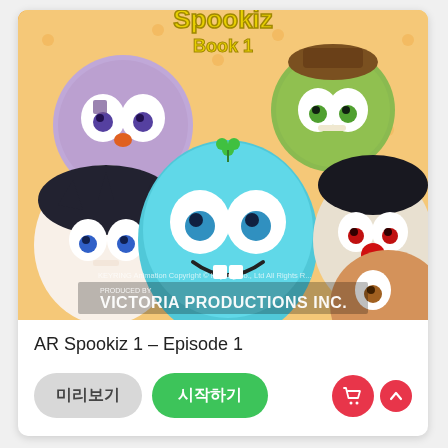[Figure (illustration): AR Spookiz Book 1 animated cartoon cover showing multiple cartoon monster/ghost characters including a teal ghost, vampire, green monster, and others with title text 'Spookiz Book 1'. Victoria Productions Inc. credited at bottom. Keyring animation copyright notice visible.]
AR Spookiz 1 – Episode 1
미리보기
시작하기